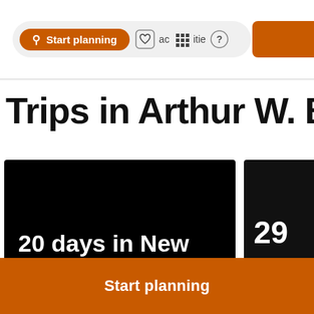Start planning  activities
Trips in Arthur W. Butler Me
[Figure (screenshot): Card showing '20 days in New York City' trip plan with SEE PLAN link on black background]
[Figure (screenshot): Partially visible card showing '29' on black/dark background]
Start planning